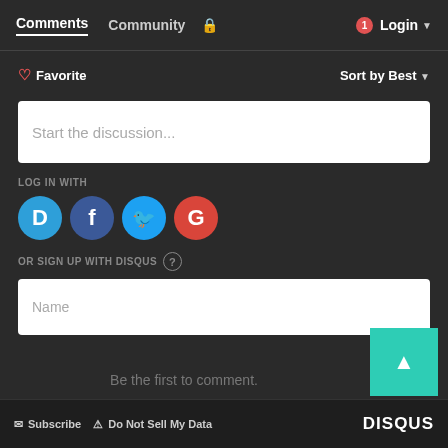Comments  Community  Login
♡ Favorite  Sort by Best
Start the discussion...
LOG IN WITH
[Figure (illustration): Social login icons: Disqus (blue), Facebook (dark blue), Twitter (light blue), Google (red)]
OR SIGN UP WITH DISQUS ?
Name
Be the first to comment.
Subscribe  Do Not Sell My Data  DISQUS